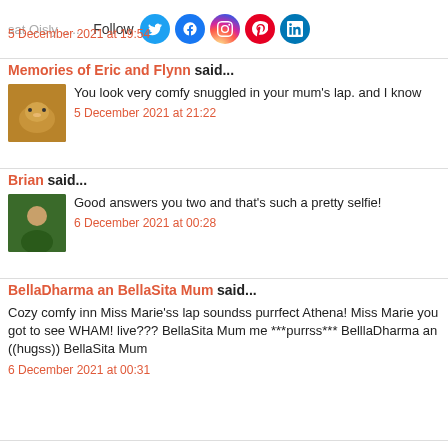sat Oisly ........ Follow
5 December 2021 at 19:54
Memories of Eric and Flynn said...
You look very comfy snuggled in your mum's lap. and I know
5 December 2021 at 21:22
Brian said...
Good answers you two and that's such a pretty selfie!
6 December 2021 at 00:28
BellaDharma an BellaSita Mum said...
Cozy comfy inn Miss Marie'ss lap soundss purrfect Athena! Miss Marie you got to see WHAM! live??? BellaSita Mum me ***purrss*** BelllaDharma an ((hugss)) BellaSita Mum
6 December 2021 at 00:31